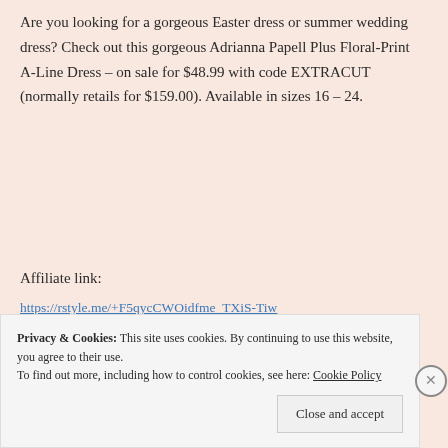Are you looking for a gorgeous Easter dress or summer wedding dress? Check out this gorgeous Adrianna Papell Plus Floral-Print A-Line Dress – on sale for $48.99 with code EXTRACUT (normally retails for $159.00). Available in sizes 16 – 24.
Affiliate link:
https://rstyle.me/+F5qycCWOidfme_TXiS-Tiw
[Figure (photo): Product photo showing a woman wearing the Adrianna Papell Plus Floral-Print A-Line Dress, visible from shoulders up]
Privacy & Cookies: This site uses cookies. By continuing to use this website, you agree to their use.
To find out more, including how to control cookies, see here: Cookie Policy

Close and accept